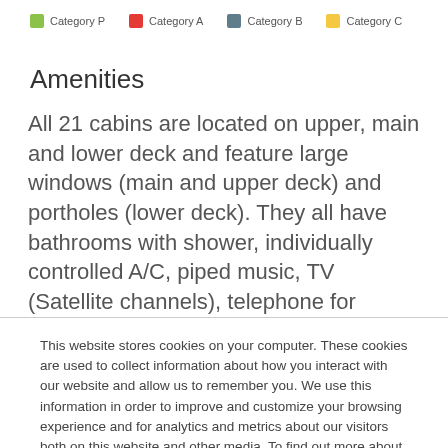[Figure (other): Legend bar with four colored swatches: Category P (green), Category A (red), Category B (slate blue), Category C (yellow)]
Amenities
All 21 cabins are located on upper, main and lower deck and feature large windows (main and upper deck) and portholes (lower deck). They all have bathrooms with shower, individually controlled A/C, piped music, TV (Satellite channels), telephone for
This website stores cookies on your computer. These cookies are used to collect information about how you interact with our website and allow us to remember you. We use this information in order to improve and customize your browsing experience and for analytics and metrics about our visitors both on this website and other media. To find out more about the cookies we use, see our Privacy Policy.
Accept